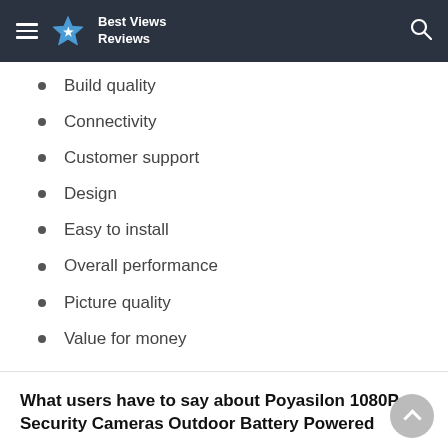Best Views Reviews
Build quality
Connectivity
Customer support
Design
Easy to install
Overall performance
Picture quality
Value for money
What users have to say about Poyasilon 1080P Security Cameras Outdoor Battery Powered
The security cam is small and sleek, and it doesn't break your budget, but it has free cloud storage, which is a plus for most cams.